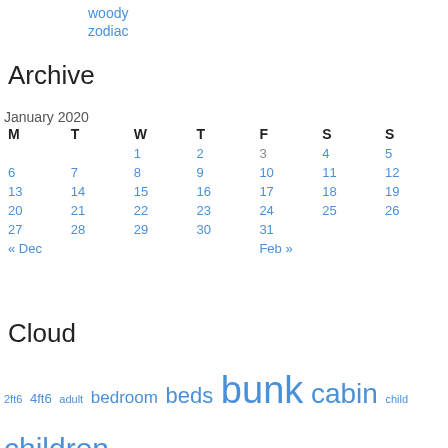woody
zodiac
Archive
January 2020
| M | T | W | T | F | S | S |
| --- | --- | --- | --- | --- | --- | --- |
|  |  | 1 | 2 | 3 | 4 | 5 |
| 6 | 7 | 8 | 9 | 10 | 11 | 12 |
| 13 | 14 | 15 | 16 | 17 | 18 | 19 |
| 20 | 21 | 22 | 23 | 24 | 25 | 26 |
| 27 | 28 | 29 | 30 | 31 |  |  |
| « Dec |  |  |  | Feb » |  |  |
Cloud
2ft6 4ft6 adult bedroom beds bunk cabin child children childrens desk double drawer drawers frame furniture girl